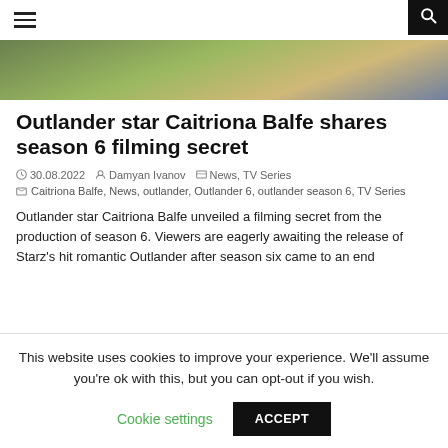≡  🔍
[Figure (photo): Partial photo of a person outdoors with blurred green background]
Outlander star Caitriona Balfe shares season 6 filming secret
30.08.2022  Damyan Ivanov  News, TV Series
Caitriona Balfe, News, outlander, Outlander 6, outlander season 6, TV Series
Outlander star Caitriona Balfe unveiled a filming secret from the production of season 6. Viewers are eagerly awaiting the release of Starz's hit romantic Outlander after season six came to an end
This website uses cookies to improve your experience. We'll assume you're ok with this, but you can opt-out if you wish.